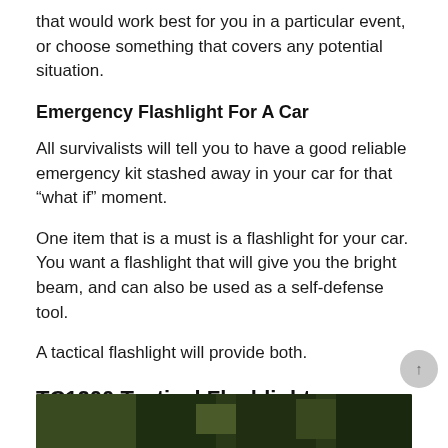that would work best for you in a particular event, or choose something that covers any potential situation.
Emergency Flashlight For A Car
All survivalists will tell you to have a good reliable emergency kit stashed away in your car for that “what if” moment.
One item that is a must is a flashlight for your car. You want a flashlight that will give you the bright beam, and can also be used as a self-defense tool.
A tactical flashlight will provide both.
TC1200 Tactical Flashlight
[Figure (photo): Bottom portion of a dark outdoor photo, partially visible at the bottom of the page.]